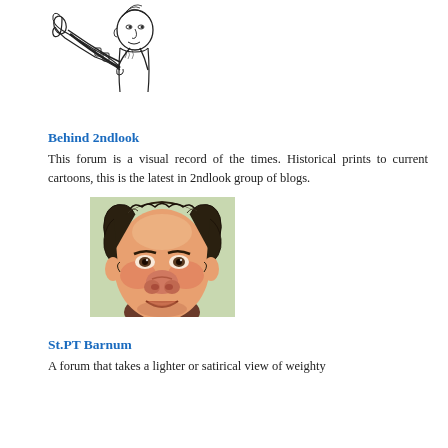[Figure (illustration): Sketch/cartoon illustration of a figure blowing a trumpet or horn, drawn in black and white line art style.]
Behind 2ndlook
This forum is a visual record of the times. Historical prints to current cartoons, this is the latest in 2ndlook group of blogs.
[Figure (illustration): Colorful caricature portrait of a heavy-set man with exaggerated features, curly dark hair, and a wide nose, smiling slightly. Painted in a satirical caricature style.]
St.PT Barnum
A forum that takes a lighter or satirical view of weighty